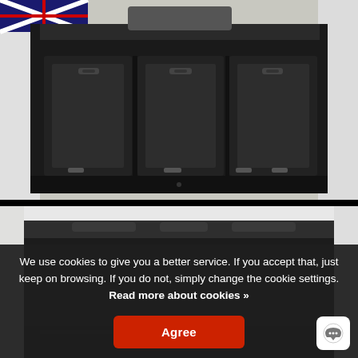[Figure (photo): Car interior photo showing boot/trunk area with three folded rear seats in black upholstery, viewed from behind the open tailgate of a white SUV/MPV]
[Figure (photo): Second car interior photo showing the empty boot/cargo area of a white vehicle, viewed from behind the open tailgate, dark interior visible]
We use cookies to give you a better service. If you accept that, just keep on browsing. If you do not, simply change the cookie settings. Read more about cookies »
Agree